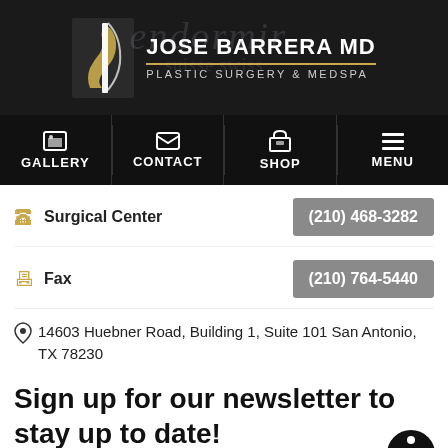[Figure (logo): Jose Barrera MD Plastic Surgery & Medspa logo with face profile icon in dark header]
[Figure (infographic): Navigation bar with Gallery, Contact, Shop, Menu icons on dark background]
Surgical Center (210) 468-3282
Fax (210) 764-5440
14603 Huebner Road, Building 1, Suite 101 San Antonio, TX 78230
Sign up for our newsletter to stay up to date!
E-mail*